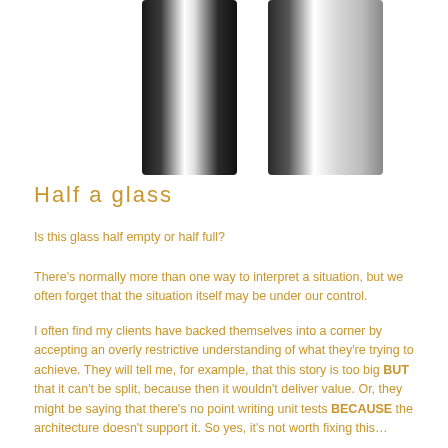[Figure (photo): Two tall cylindrical glass objects (half-filled glasses or vases) shown side by side, with dark and reflective surfaces, white background. The left glass appears darker and the right glass is lighter/more reflective. Only the lower halves of the glasses are visible.]
Half a glass
Is this glass half empty or half full?
There's normally more than one way to interpret a situation, but we often forget that the situation itself may be under our control.
I often find my clients have backed themselves into a corner by accepting an overly restrictive understanding of what they're trying to achieve. They will tell me, for example, that this story is too big BUT that it can't be split, because then it wouldn't deliver value. Or, they might be saying that there's no point writing unit tests BECAUSE the architecture doesn't support it. So yes, it's not worth fixing this…